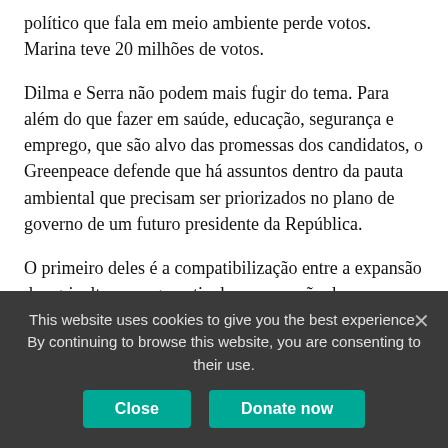político que fala em meio ambiente perde votos. Marina teve 20 milhões de votos.
Dilma e Serra não podem mais fugir do tema. Para além do que fazer em saúde, educação, segurança e emprego, que são alvo das promessas dos candidatos, o Greenpeace defende que há assuntos dentro da pauta ambiental que precisam ser priorizados no plano de governo de um futuro presidente da República.
O primeiro deles é a compatibilização entre a expansão da agricultura e a garantia da preservação das nossas florestas. Num país com mais de uma centena de
This website uses cookies to give you the best experience. By continuing to browse this website, you are consenting to their use.